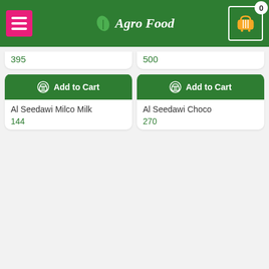Agro Food
395
500
[Figure (photo): Product image placeholder for Al Seedawi Milco Milk]
Add to Cart
Al Seedawi Milco Milk
144
[Figure (photo): Product image placeholder for Al Seedawi Choco]
Add to Cart
Al Seedawi Choco
270